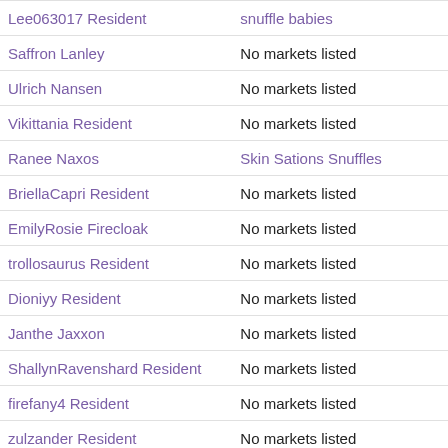| Name | Markets |
| --- | --- |
| Lee063017 Resident | snuffle babies |
| Saffron Lanley | No markets listed |
| Ulrich Nansen | No markets listed |
| Vikittania Resident | No markets listed |
| Ranee Naxos | Skin Sations Snuffles |
| BriellaCapri Resident | No markets listed |
| EmilyRosie Firecloak | No markets listed |
| trollosaurus Resident | No markets listed |
| Dioniyy Resident | No markets listed |
| Janthe Jaxxon | No markets listed |
| ShallynRavenshard Resident | No markets listed |
| firefany4 Resident | No markets listed |
| zulzander Resident | No markets listed |
| Delightful Afterthought | No markets listed |
| TatyKitten Resident | No markets listed |
| Nelonis Resident | No markets listed |
| Savinkova Resident | No markets listed |
| jamie Flinders | No markets listed |